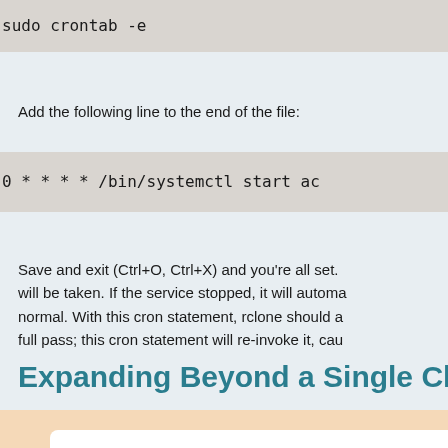sudo crontab -e
Add the following line to the end of the file:
0 * * * * /bin/systemctl start ac
Save and exit (Ctrl+O, Ctrl+X) and you're all set. will be taken. If the service stopped, it will automa normal. With this cron statement, rclone should a full pass; this cron statement will re-invoke it, cau
Expanding Beyond a Single Cha
[Figure (other): Peach/orange colored box with white inner panel at the bottom of the page]